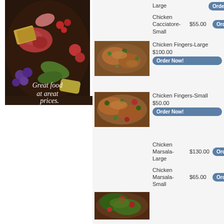[Figure (photo): Colorful food platter with meats, cheeses, fruits and vegetables]
Great food at great prices.
Large
Chicken Cacciatore-Small
$55.00
[Figure (photo): Close-up of a food dish - chicken fingers or similar]
Chicken Fingers-Large
$100.00
[Figure (photo): Close-up of a food dish - chicken fingers small]
Chicken Fingers-Small
$50.00
Chicken Marsala-Large
$130.00
Chicken Marsala-Small
$65.00
[Figure (photo): Close-up of a food dish at bottom of page]